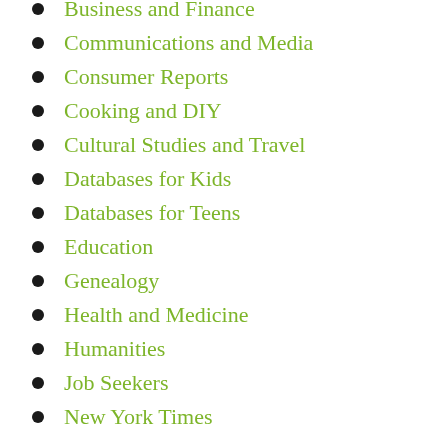Business and Finance
Communications and Media
Consumer Reports
Cooking and DIY
Cultural Studies and Travel
Databases for Kids
Databases for Teens
Education
Genealogy
Health and Medicine
Humanities
Job Seekers
New York Times